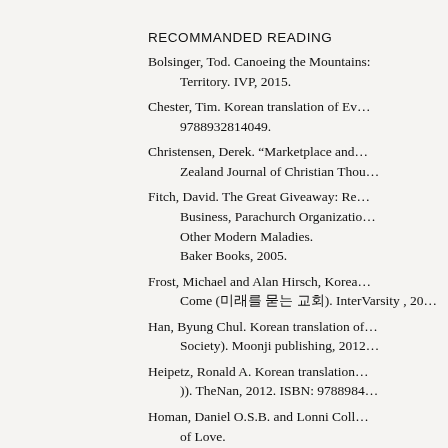RECOMMANDED READING
Bolsinger, Tod. Canoeing the Mountains: Christian Leadership in Uncharted Territory. IVP, 2015.
Chester, Tim. Korean translation of Everyday Church. 9788932814049.
Christensen, Derek. “Marketplace and Mission.” New Zealand Journal of Christian Thou…
Fitch, David. The Great Giveaway: Reclaiming the Mission of the Church from Big Business, Parachurch Organizations, Psychotherapy, Consumer Capitalism, and Other Modern Maladies. Baker Books, 2005.
Frost, Michael and Alan Hirsch, Korean translation of The Shaping of Things to Come (미래를 묻는 교회). InterVarsity , 20…
Han, Byung Chul. Korean translation of … (Transparency Society). Moonji publishing, 2012…
Heipetz, Ronald A. Korean translation of … (리더십의 정수). TheNan, 2012. ISBN: 97889984…
Homan, Daniel O.S.B. and Lonni Coll… of Love. Paraclete Press, 2005.
Korean Society of Mission Studies ed.…